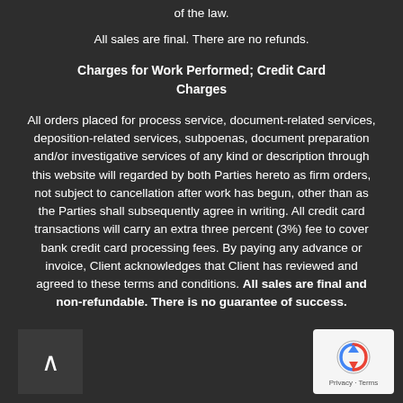of the law.
All sales are final. There are no refunds.
Charges for Work Performed; Credit Card Charges
All orders placed for process service, document-related services, deposition-related services, subpoenas, document preparation and/or investigative services of any kind or description through this website will regarded by both Parties hereto as firm orders, not subject to cancellation after work has begun, other than as the Parties shall subsequently agree in writing. All credit card transactions will carry an extra three percent (3%) fee to cover bank credit card processing fees. By paying any advance or invoice, Client acknowledges that Client has reviewed and agreed to these terms and conditions. All sales are final and non-refundable. There is no guarantee of success.